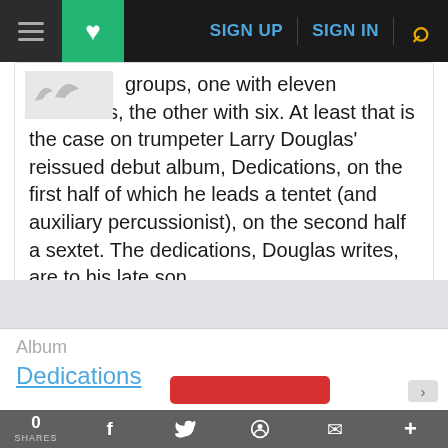SIGN UP  SIGN IN  [search]
groups, one with eleven musicians, the other with six. At least that is the case on trumpeter Larry Douglas' reissued debut album, Dedications, on the first half of which he leads a tentet (and auxiliary percussionist), on the second half a sextet. The dedications, Douglas writes, are to his late son, ...
Album
Dedications
0 SHARES  f  twitter  reddit  mail  +